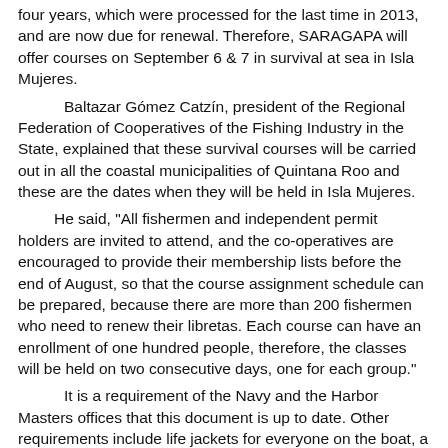four years, which were processed for the last time in 2013, and are now due for renewal. Therefore, SARAGAPA will offer courses on September 6 & 7 in survival at sea in Isla Mujeres.
Baltazar Gómez Catzín, president of the Regional Federation of Cooperatives of the Fishing Industry in the State, explained that these survival courses will be carried out in all the coastal municipalities of Quintana Roo and these are the dates when they will be held in Isla Mujeres.
He said, "All fishermen and independent permit holders are invited to attend, and the co-operatives are encouraged to provide their membership lists before the end of August, so that the course assignment schedule can be prepared, because there are more than 200 fishermen who need to renew their libretas. Each course can have an enrollment of one hundred people, therefore, the classes will be held on two consecutive days, one for each group."
It is a requirement of the Navy and the Harbor Masters offices that this document is up to date. Other requirements include life jackets for everyone on the boat, a VHF radio, a first aid kit, and a life saver ring.
He said, "If a boat is intercepted for a routine inspection